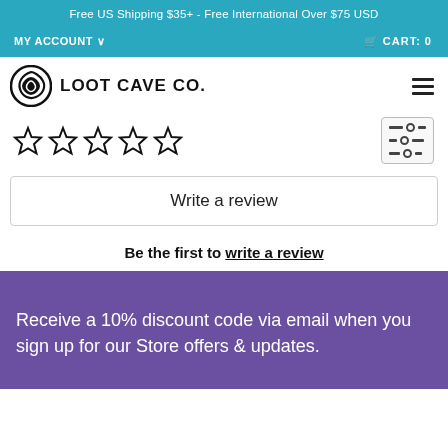Free US Shipping $35+ - Free International Over $75 USD
MY ACCOUNT   CART: 0
[Figure (logo): Loot Cave Co. logo with circular icon and bold text LOOT CAVE CO.]
[Figure (other): Five empty star rating icons]
Write a review
Be the first to write a review
Receive a 10% discount code via email when you sign up for our Store offers & updates.